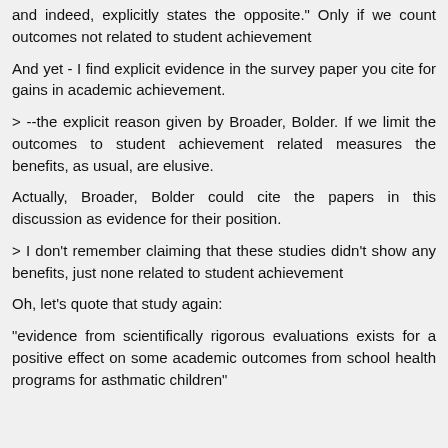and indeed, explicitly states the opposite." Only if we count outcomes not related to student achievement
And yet - I find explicit evidence in the survey paper you cite for gains in academic achievement.
> --the explicit reason given by Broader, Bolder. If we limit the outcomes to student achievement related measures the benefits, as usual, are elusive.
Actually, Broader, Bolder could cite the papers in this discussion as evidence for their position.
> I don't remember claiming that these studies didn't show any benefits, just none related to student achievement
Oh, let's quote that study again:
"evidence from scientifically rigorous evaluations exists for a positive effect on some academic outcomes from school health programs for asthmatic children"